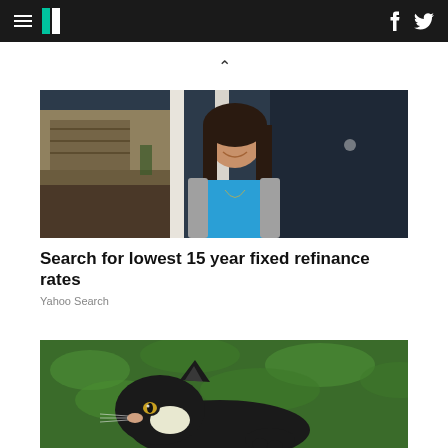HuffPost navigation with hamburger menu, logo, Facebook and Twitter icons
[Figure (photo): Young woman with long dark hair smiling, wearing a blue top and grey cardigan, standing in front of a building with white columns and dark exterior]
Search for lowest 15 year fixed refinance rates
Yahoo Search
[Figure (photo): Close-up of a black and white cat looking sideways against a green leafy background]